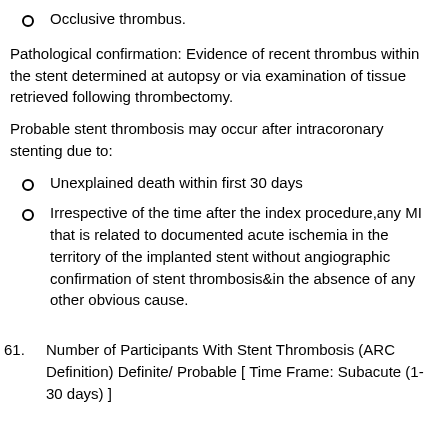Occlusive thrombus.
Pathological confirmation: Evidence of recent thrombus within the stent determined at autopsy or via examination of tissue retrieved following thrombectomy.
Probable stent thrombosis may occur after intracoronary stenting due to:
Unexplained death within first 30 days
Irrespective of the time after the index procedure,any MI that is related to documented acute ischemia in the territory of the implanted stent without angiographic confirmation of stent thrombosis&in the absence of any other obvious cause.
61. Number of Participants With Stent Thrombosis (ARC Definition) Definite/ Probable [ Time Frame: Subacute (1-30 days) ]